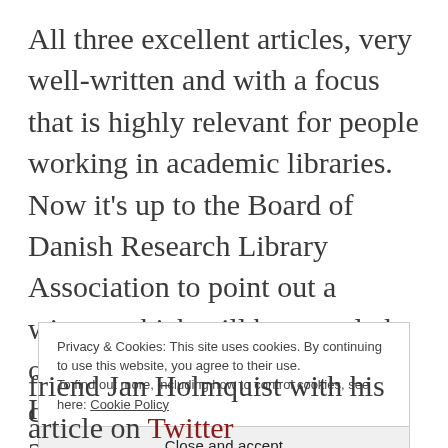All three excellent articles, very well-written and with a focus that is highly relevant for people working in academic libraries. Now it's up to the Board of Danish Research Library Association to point out a winner which will be revealed on the associations winter conference in the beginning of 2016.
Privacy & Cookies: This site uses cookies. By continuing to use this website, you agree to their use. To find out more, including how to control cookies, see here: Cookie Policy
Close and accept
I
friend Jan Holmquist with his article on Twitter